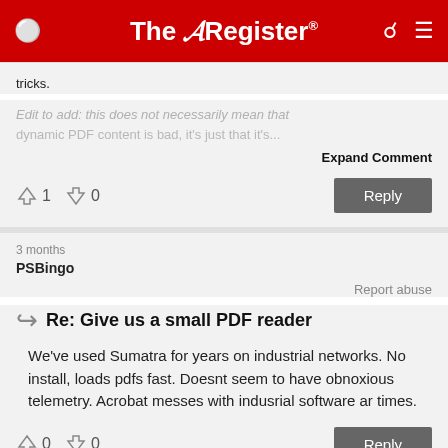The Register
tricks.
Edit to add: this does not necessarily mean that dynamic PDF content is bad, it's just that it's...
Expand Comment
↑1  ↓0
3 months
PSBingo
Report abuse
Re: Give us a small PDF reader
We've used Sumatra for years on industrial networks. No install, loads pdfs fast. Doesnt seem to have obnoxious telemetry. Acrobat messes with indusrial software ar times.
↑0  ↓0